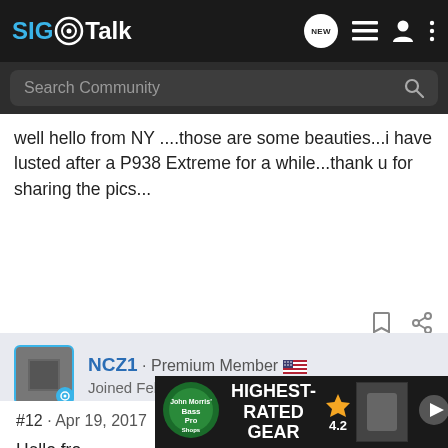SIG Talk
well hello from NY ....those are some beauties...i have lusted after a P938 Extreme for a while...thank u for sharing the pics...
NCZ1 · Premium Member
Joined Feb 10, 2013 · 10,978 Posts
#12 · Apr 19, 2017
Hello fro...
[Figure (screenshot): Bass Pro Shops advertisement banner: HIGHEST-RATED GEAR, rating 4.2 stars, with product image and play button]